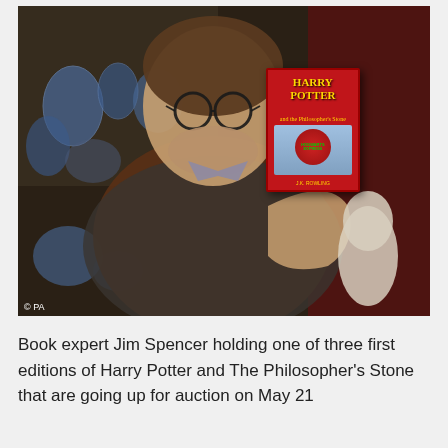[Figure (photo): A man (book expert Jim Spencer) with glasses and a beard, wearing a tweed jacket and rust-colored sweater, holds up a first edition copy of Harry Potter and The Philosopher's Stone. Behind him are shelves of blue and white pottery and a red lacquered cabinet. A marble bust is visible on the right. A PA photo credit appears in the bottom-left corner of the image.]
Book expert Jim Spencer holding one of three first editions of Harry Potter and The Philosopher's Stone that are going up for auction on May 21